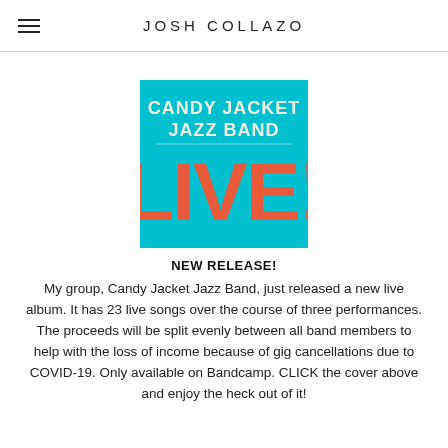JOSH COLLAZO
[Figure (illustration): Album cover for Candy Jacket Jazz Band LIVE! — cyan/turquoise background with white bold text reading 'CANDY JACKET JAZZ BAND' at top and large orange/coral bold text reading 'LIVE!' below.]
NEW RELEASE!
My group, Candy Jacket Jazz Band, just released a new live album. It has 23 live songs over the course of three performances. The proceeds will be split evenly between all band members to help with the loss of income because of gig cancellations due to COVID-19. Only available on Bandcamp. CLICK the cover above and enjoy the heck out of it!